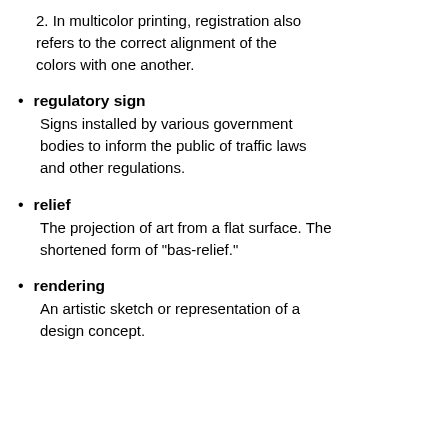2. In multicolor printing, registration also refers to the correct alignment of the colors with one another.
regulatory sign
Signs installed by various government bodies to inform the public of traffic laws and other regulations.
relief
The projection of art from a flat surface. The shortened form of "bas-relief."
rendering
An artistic sketch or representation of a design concept.